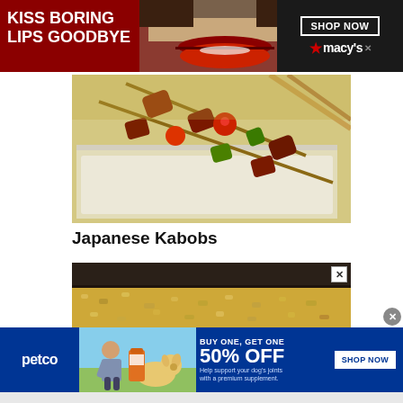[Figure (photo): Macy's advertisement banner: 'KISS BORING LIPS GOODBYE' with model showing red lips, SHOP NOW button and Macy's logo]
[Figure (photo): Close-up photo of Japanese Kabobs with grilled meat and vegetables on skewers over rice on a white plate]
Japanese Kabobs
[Figure (photo): Close-up advertisement photo of a food item (appears to be a dessert bar with cream/frosting topping) with X close button]
[Figure (photo): Petco advertisement: BUY ONE, GET ONE 50% OFF - Help support your dog's joints with a premium supplement. SHOP NOW button, with photo of woman and dog]